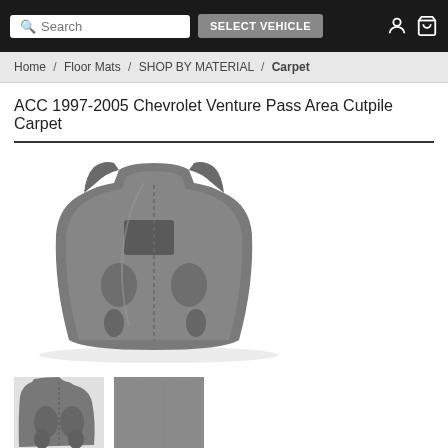Search | SELECT VEHICLE
Home / Floor Mats / SHOP BY MATERIAL / Carpet
ACC 1997-2005 Chevrolet Venture Pass Area Cutpile Carpet
[Figure (photo): Main product photo of grey cutpile carpet for Chevrolet Venture passenger area, showing full carpet piece with contoured shape]
[Figure (photo): Thumbnail photo of carpet detail showing molded sections]
[Figure (photo): Thumbnail photo of carpet showing flat grey surface]